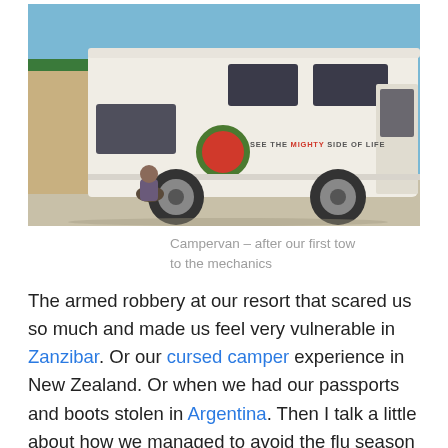[Figure (photo): A white campervan/motorhome with a red circle logo and text 'SEE THE MIGHTY SIDE OF LIFE' on its side. A person is crouching near the rear wheel. A building is visible in the background.]
Campervan – after our first tow to the mechanics
The armed robbery at our resort that scared us so much and made us feel very vulnerable in Zanzibar. Or our cursed camper experience in New Zealand. Or when we had our passports and boots stolen in Argentina. Then I talk a little about how we managed to avoid the flu season by more or less following summer around the world, but not surprisingly each of us did have some types of illness